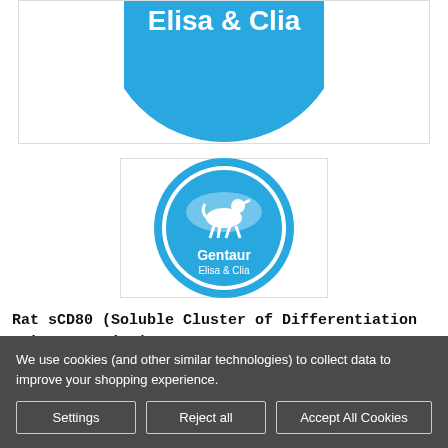[Figure (logo): Partial Gentaur Elisa & Clia logo circle (blue, top cropped) — large version at top of page]
[Figure (logo): Gentaur Elisa & Clia circular logo with centaur figure in blue circle]
Rat sCD80 (Soluble Cluster of Differentiation 80) ELISA Kit | G-EC-05915
We use cookies (and other similar technologies) to collect data to improve your shopping experience.
Settings | Reject all | Accept All Cookies